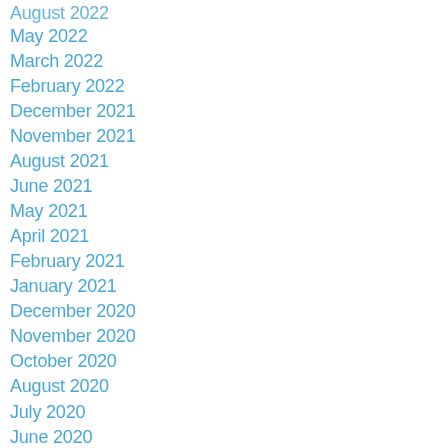August 2022
May 2022
March 2022
February 2022
December 2021
November 2021
August 2021
June 2021
May 2021
April 2021
February 2021
January 2021
December 2020
November 2020
October 2020
August 2020
July 2020
June 2020
May 2020
April 2020
March 2020